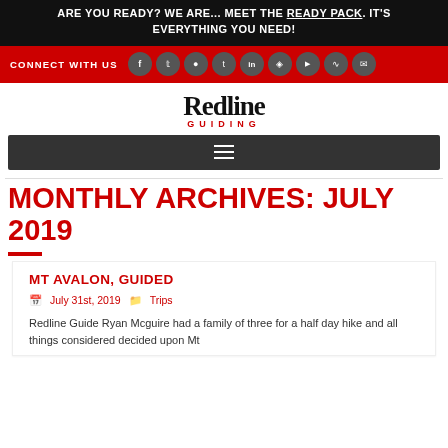ARE YOU READY? WE ARE... MEET THE READY PACK. IT'S EVERYTHING YOU NEED!
[Figure (infographic): Red social bar with CONNECT WITH US text and icons for Facebook, Twitter, Instagram, Tumblr, LinkedIn, Pinterest, YouTube, RSS, and Email]
[Figure (logo): Redline Guiding logo with black Redline text and red GUIDING subtext]
[Figure (infographic): Dark gray navigation bar with hamburger menu icon]
MONTHLY ARCHIVES: JULY 2019
MT AVALON, GUIDED
July 31st, 2019   Trips
Redline Guide Ryan Mcguire had a family of three for a half day hike and all things considered decided upon Mt